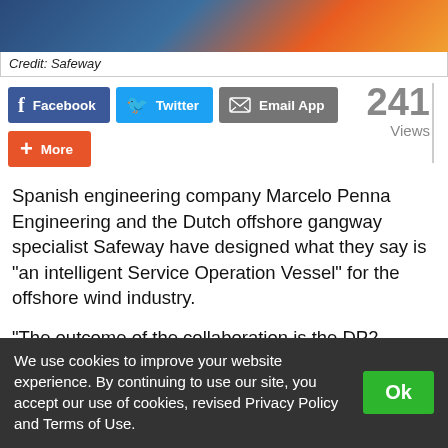[Figure (photo): Partial image of offshore vessel or engineering equipment, colorful]
Credit: Safeway
[Figure (infographic): Social sharing buttons: Facebook, Twitter, Email App, More. Views counter showing 241 Views.]
Spanish engineering company Marcelo Penna Engineering and the Dutch offshore gangway specialist Safeway have designed what they say is "an intelligent Service Operation Vessel" for the offshore wind industry.
"The outcome of the collaboration is the DP2 MP625 SOV combined with the recently introduced Safeway Gannet 3D motion-
We use cookies to improve your website experience. By continuing to use our site, you accept our use of cookies, revised Privacy Policy and Terms of Use.